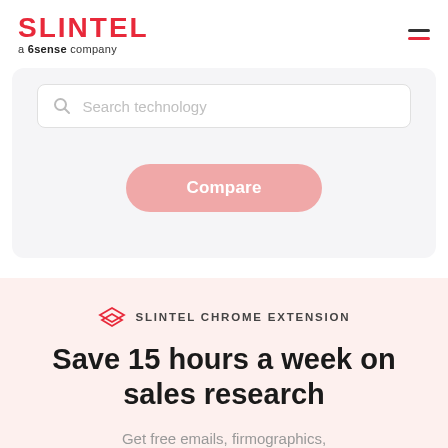[Figure (logo): Slintel logo — red bold SLINTEL text, subtitle 'a 6sense company' below]
[Figure (screenshot): Search technology input bar with placeholder text, and a pink rounded Compare button below]
SLINTEL CHROME EXTENSION
Save 15 hours a week on sales research
Get free emails, firmographics, technographics, and keyword intent from any